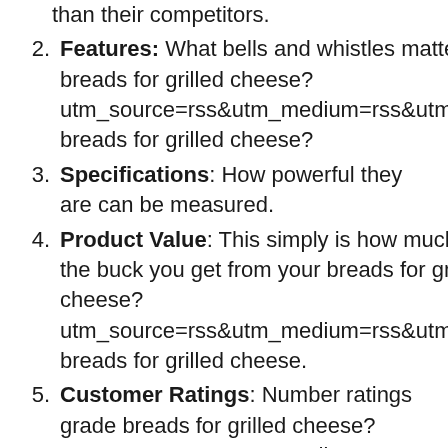than their competitors.
Features: What bells and whistles matter for an breads for grilled cheese? utm_source=rss&utm_medium=rss&utm_campaign= breads for grilled cheese?
Specifications: How powerful they are can be measured.
Product Value: This simply is how much bang for the buck you get from your breads for grilled cheese? utm_source=rss&utm_medium=rss&utm_campaign= breads for grilled cheese.
Customer Ratings: Number ratings grade breads for grilled cheese? utm_source=rss&utm_medium=rss&ut